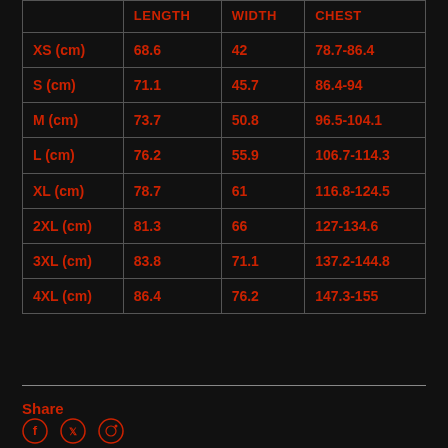|  | LENGTH | WIDTH | CHEST |
| --- | --- | --- | --- |
| XS (cm) | 68.6 | 42 | 78.7-86.4 |
| S (cm) | 71.1 | 45.7 | 86.4-94 |
| M (cm) | 73.7 | 50.8 | 96.5-104.1 |
| L (cm) | 76.2 | 55.9 | 106.7-114.3 |
| XL (cm) | 78.7 | 61 | 116.8-124.5 |
| 2XL (cm) | 81.3 | 66 | 127-134.6 |
| 3XL (cm) | 83.8 | 71.1 | 137.2-144.8 |
| 4XL (cm) | 86.4 | 76.2 | 147.3-155 |
Share